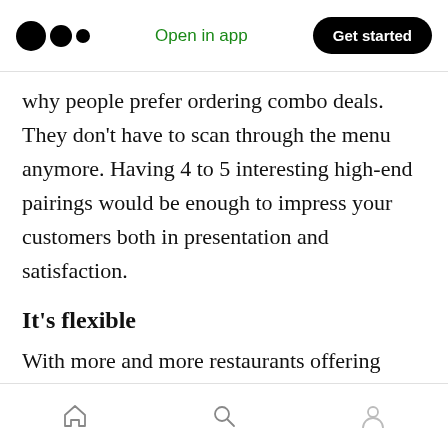Open in app   Get started
why people prefer ordering combo deals. They don't have to scan through the menu anymore. Having 4 to 5 interesting high-end pairings would be enough to impress your customers both in presentation and satisfaction.
It's flexible
With more and more restaurants offering customized combo meals, where diners can pick their own choice of food and drinks, this concept is becoming much more flexible.
This is much to the preference of the customers